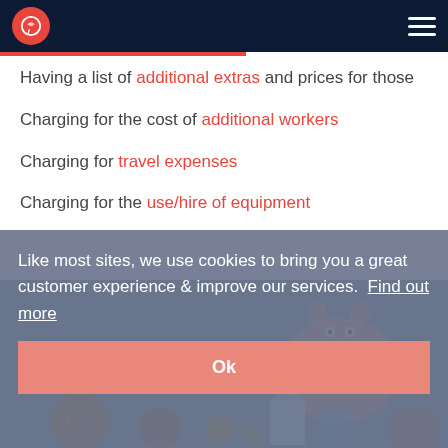G (logo) | hamburger menu
Having a list of additional extras and prices for those
Charging for the cost of additional workers
Charging for travel expenses
Charging for the use/hire of equipment
[Figure (illustration): Cookie consent banner overlay with pig and calculator illustration behind it. Banner text: Like most sites, we use cookies to bring you a great customer experience & improve our services. Find out more. Ok button.]
Like most sites, we use cookies to bring you a great customer experience & improve our services.  Find out more
Ok